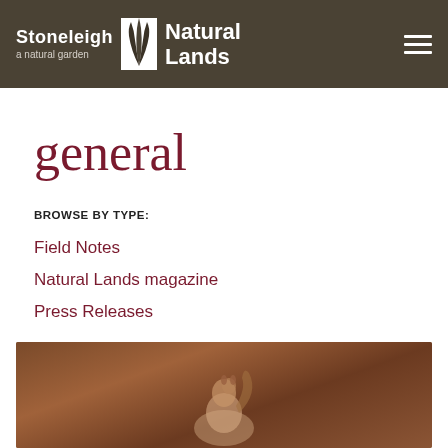Stoneleigh a natural garden | Natural Lands
general
BROWSE BY TYPE:
Field Notes
Natural Lands magazine
Press Releases
[Figure (photo): Photo of a squirrel or wildlife on a natural background, partially visible at bottom of page]